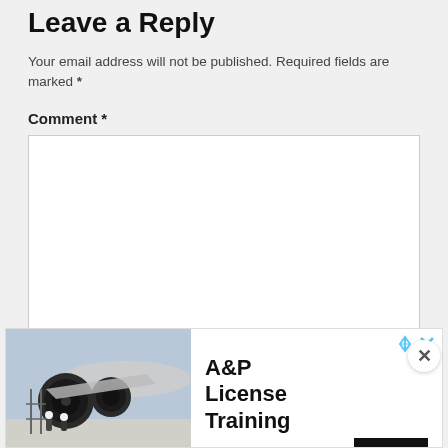Leave a Reply
Your email address will not be published. Required fields are marked *
Comment *
[Figure (screenshot): Empty comment text area input box with resize handle]
[Figure (photo): Advertisement banner showing A&P License Training by Aviation Institute with airplane engine image and Open button]